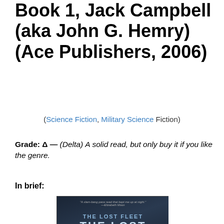Book 1, Jack Campbell (aka John G. Hemry) (Ace Publishers, 2006)
(Science Fiction, Military Science Fiction)
Grade: Δ — (Delta) A solid read, but only buy it if you like the genre.
In brief:
[Figure (photo): Book cover of The Lost Fleet: Dauntless by Jack Campbell, showing armored figures on a dark sci-fi background with blurbs from Elizabeth Moon and William C. Dietz]